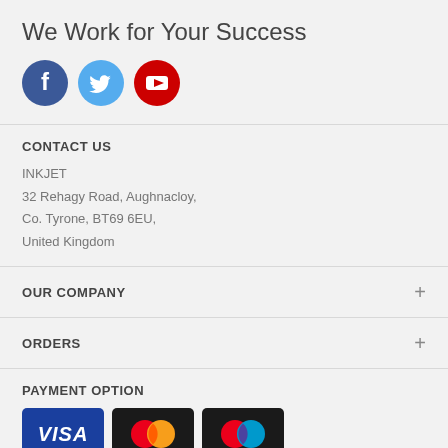We Work for Your Success
[Figure (illustration): Three social media icons: Facebook (dark blue circle with 'f'), Twitter (light blue circle with bird), YouTube (red circle with play button triangle)]
CONTACT US
INKJET
32 Rehagy Road, Aughnacloy,
Co. Tyrone, BT69 6EU,
United Kingdom
OUR COMPANY
ORDERS
PAYMENT OPTION
[Figure (illustration): Three payment card logos: VISA (blue background white text), Mastercard (black background overlapping red and orange circles), Maestro (black background overlapping red and blue circles)]